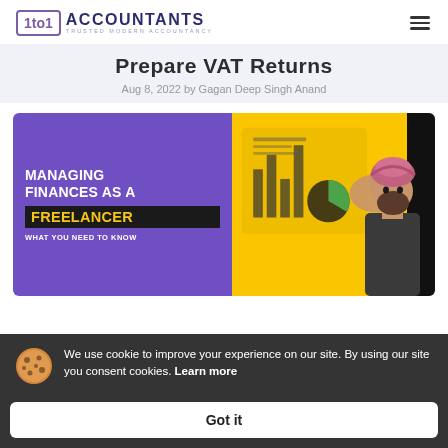[Figure (logo): 1to1 Accountants logo with tagline 'Trusted Modern Accountancy']
Prepare VAT Returns
Aug 8, 2022 by Gagan Deep Singh Anand
[Figure (photo): Hero banner image: 'Managing Finances as a Freelancer - What You Need to Know' with purple background, yellow accent, and person wearing pink turban on the right]
We use cookie to improve your experience on our site. By using our site you consent cookies. Learn more
Got it